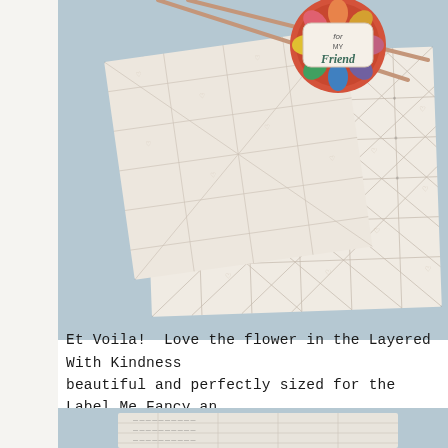[Figure (photo): Crafted greeting card with patterned paper featuring diamond grid and hearts pattern, with decorative flower embellishment and 'For My Friend' label tag, displayed on a blue-grey background]
Et Voila!  Love the flower in the Layered With Kindness beautiful and perfectly sized for the Label Me Fancy an
[Figure (photo): Partial view of another crafted card on blue-grey background]